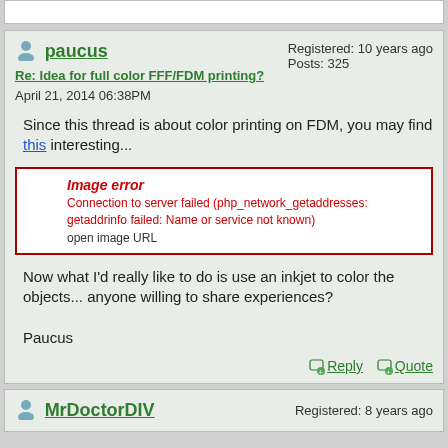paucus
Re: Idea for full color FFF/FDM printing?
April 21, 2014 06:38PM
Registered: 10 years ago
Posts: 325
Since this thread is about color printing on FDM, you may find this interesting...
[Figure (other): Image error box: Connection to server failed (php_network_getaddresses: getaddrinfo failed: Name or service not known). open image URL]
Now what I'd really like to do is use an inkjet to color the objects... anyone willing to share experiences?

Paucus
Reply   Quote
MrDoctorDIV
Registered: 8 years ago